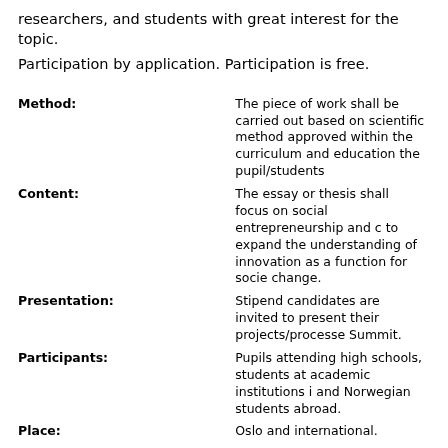researchers, and students with great interest for the topic.
Participation by application. Participation is free.
| Field | Description |
| --- | --- |
| Method: | The piece of work shall be carried out based on scientific method approved within the curriculum and education the pupil/students |
| Content: | The essay or thesis shall focus on social entrepreneurship and c to expand the understanding of innovation as a function for socie change. |
| Presentation: | Stipend candidates are invited to present their projects/processe Summit. |
| Participants: | Pupils attending high schools, students at academic institutions i and Norwegian students abroad. |
| Place: | Oslo and international. |
| Prize: | Diploma and cup. |
| Course Code: | SP-01-A, High School
SP-02-A, Bachelor grade study
SP-03-A, Master grade study |
| Inquiry and Application form: | Please contact Fil. Dr. Jan-U. Sandal Institute |